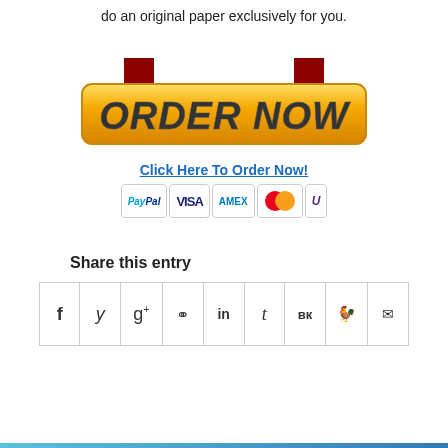do an original paper exclusively for you.
[Figure (illustration): Large golden 'ORDER NOW' button with dark red downward arrows on left and right sides, styled as a call-to-action button with bold dark italic text.]
Click Here To Order Now!
[Figure (illustration): Row of payment method badges: PayPal, VISA, AMEX, Mastercard, and an unbranded card.]
Share this entry
| f | y | g+ | p | in | t | vk | reddit | mail |